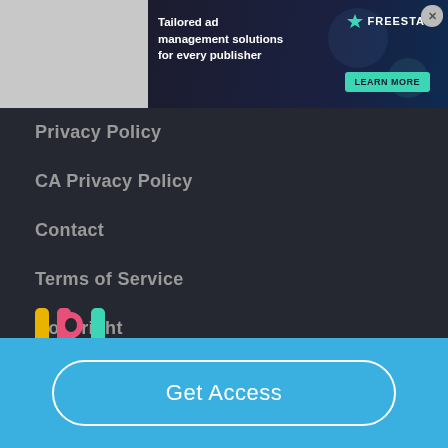[Figure (screenshot): Advertisement banner: 'Tailored ad management solutions for every publisher' with Freestar branding and 'Learn More' button]
Privacy Policy
CA Privacy Policy
Contact
Terms of Service
Copyright
CA Do Not Sell My Personal Information
[Figure (logo): IPL colorful logo letters: yellow I, pink P, teal L]
Get Access